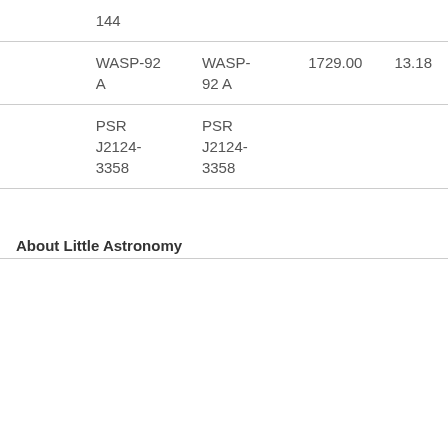|  | 144 |  |  |  |
|  | WASP-92 A | WASP-92 A | 1729.00 | 13.18 |
|  | PSR J2124-3358 | PSR J2124-3358 |  |  |
About Little Astronomy